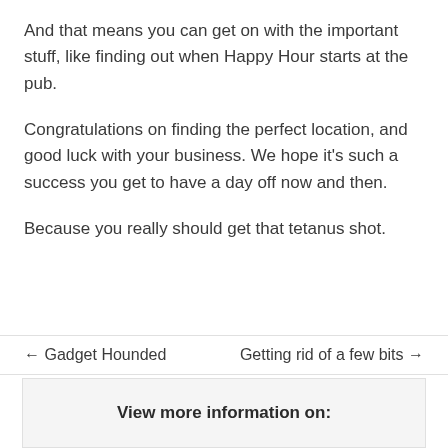And that means you can get on with the important stuff, like finding out when Happy Hour starts at the pub.
Congratulations on finding the perfect location, and good luck with your business. We hope it's such a success you get to have a day off now and then.
Because you really should get that tetanus shot.
← Gadget Hounded   Getting rid of a few bits →
View more information on: